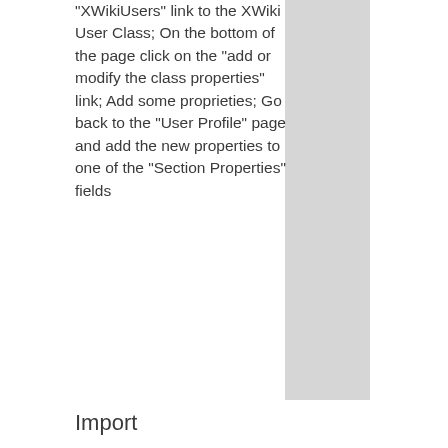"XWikiUsers" link to the XWiki User Class; On the bottom of the page click on the "add or modify the class properties" link; Add some proprieties; Go back to the "User Profile" page and add the new properties to one of the "Section Properties" fields
Import